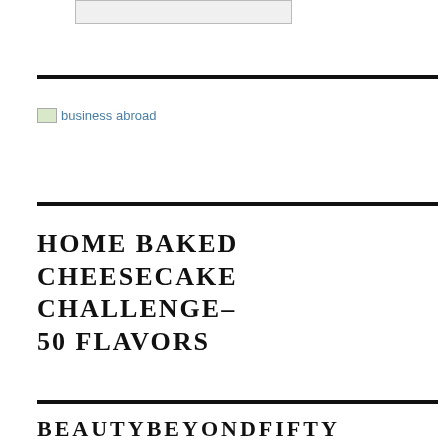[Figure (other): Partial image placeholder at top of page, appears to be a button or image link]
[Figure (other): Broken image placeholder with alt text 'business abroad']
HOME BAKED CHEESECAKE CHALLENGE–50 FLAVORS
BEAUTYBEYONDFIFTY